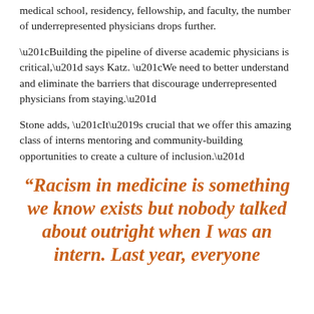medical school, residency, fellowship, and faculty, the number of underrepresented physicians drops further.
“Building the pipeline of diverse academic physicians is critical,” says Katz. “We need to better understand and eliminate the barriers that discourage underrepresented physicians from staying.”
Stone adds, “It’s crucial that we offer this amazing class of interns mentoring and community-building opportunities to create a culture of inclusion.”
“Racism in medicine is something we know exists but nobody talked about outright when I was an intern. Last year, everyone